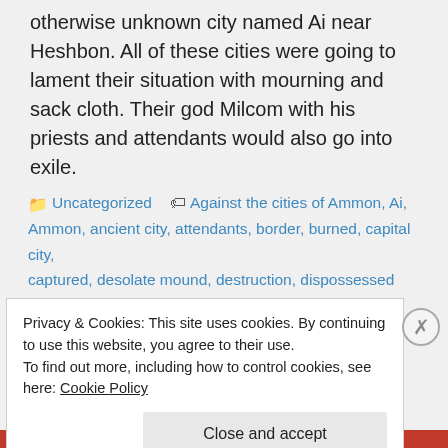otherwise unknown city named Ai near Heshbon. All of these cities were going to lament their situation with mourning and sack cloth. Their god Milcom with his priests and attendants would also go into exile.
Uncategorized   Against the cities of Ammon, Ai, Ammon, ancient city, attendants, border, burned, capital city, captured, desolate mound, destruction, dispossessed Israelites, Do you know of cities have been in different countries?, exile, Gad territory, god Milcom, Heshbon, his
Privacy & Cookies: This site uses cookies. By continuing to use this website, you agree to their use.
To find out more, including how to control cookies, see here: Cookie Policy